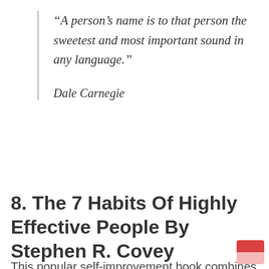“A person’s name is to that person the sweetest and most important sound in any language.”
Dale Carnegie
8. The 7 Habits Of Highly Effective People By Stephen R. Covey
This popular self-improvement book combines how to succeed if your career or business and in your own life.